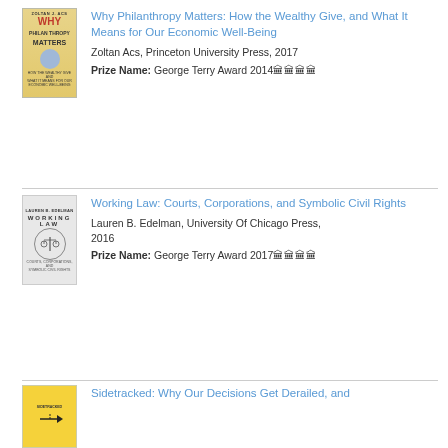[Figure (illustration): Book cover of 'Why Philanthropy Matters' by Zoltan J. Acs, yellow/gold cover with red WHY text]
Why Philanthropy Matters: How the Wealthy Give, and What It Means for Our Economic Well-Being
Zoltan Acs, Princeton University Press, 2017
Prize Name: George Terry Award 2014🏛🏛🏛🏛
[Figure (illustration): Book cover of 'Working Law: Courts, Corporations, and Symbolic Civil Rights' by Lauren B. Edelman, grey cover with scales of justice]
Working Law: Courts, Corporations, and Symbolic Civil Rights
Lauren B. Edelman, University Of Chicago Press, 2016
Prize Name: George Terry Award 2017🏛🏛🏛🏛
[Figure (illustration): Book cover of 'Sidetracked: Why Our Decisions Get Derailed, and...' with yellow cover]
Sidetracked: Why Our Decisions Get Derailed, and